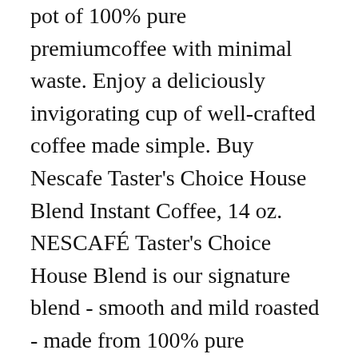pot of 100% pure premiumcoffee with minimal waste. Enjoy a deliciously invigorating cup of well-crafted coffee made simple. Buy Nescafe Taster's Choice House Blend Instant Coffee, 14 oz. NESCAFÉ Taster's Choice House Blend is our signature blend - smooth and mild roasted - made from 100% pure responsibly sourced coffee beans. What's in NESCAFE Taster's Choice House Blend?. 00 (CDN$ 5.00/Ounce) ). AU $52.93. Nescafe Taster's Choice House Blend Instant Coffee. Packets, 80/Box (NES15782) at Quill.com. Free delivery for many products! Nescafe Taster's Choice House Blend Instant Coffee is a signature house blend. NESCAFÉ Taster's Choice bulk instant coffee is ideal for office coffee stations. 99 $15.99 $ 15 .